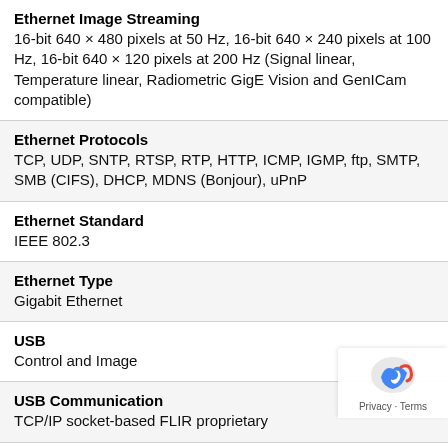Ethernet Image Streaming
16-bit 640 × 480 pixels at 50 Hz, 16-bit 640 × 240 pixels at 100 Hz, 16-bit 640 × 120 pixels at 200 Hz (Signal linear, Temperature linear, Radiometric GigE Vision and GenICam compatible)
Ethernet Protocols
TCP, UDP, SNTP, RTSP, RTP, HTTP, ICMP, IGMP, ftp, SMTP, SMB (CIFS), DHCP, MDNS (Bonjour), uPnP
Ethernet Standard
IEEE 802.3
Ethernet Type
Gigabit Ethernet
USB
Control and Image
USB Communication
TCP/IP socket-based FLIR proprietary
USB Connector Type
USB Mini-B
USB Image Streaming